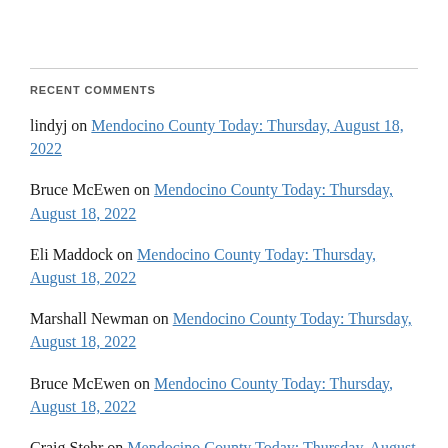RECENT COMMENTS
lindyj on Mendocino County Today: Thursday, August 18, 2022
Bruce McEwen on Mendocino County Today: Thursday, August 18, 2022
Eli Maddock on Mendocino County Today: Thursday, August 18, 2022
Marshall Newman on Mendocino County Today: Thursday, August 18, 2022
Bruce McEwen on Mendocino County Today: Thursday, August 18, 2022
Craig Stehr on Mendocino County Today: Thursday, August 18, 2022